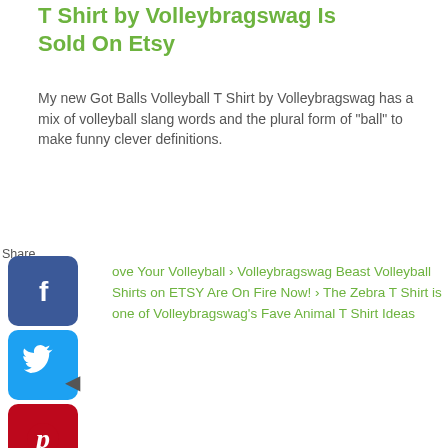T Shirt by Volleybragswag Is Sold On Etsy
My new Got Balls Volleyball T Shirt by Volleybragswag has a mix of volleyball slang words and the plural form of "ball" to make funny clever definitions.
[Figure (infographic): Social media share buttons column: Share label, Facebook (blue), Twitter (blue), Pinterest (red), Tumblr (dark navy), Reddit (orange), WhatsApp (green), and a back arrow triangle below]
ove Your Volleyball › Volleybragswag Beast Volleyball Shirts on ETSY Are On Fire Now! › The Zebra T Shirt is one of Volleybragswag's Fave Animal T Shirt Ideas